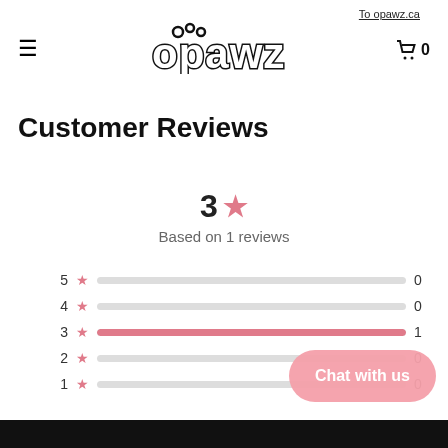To opawz.ca  ☰  opawz  🛒 0
Customer Reviews
3★
Based on 1 reviews
[Figure (bar-chart): Rating distribution]
Chat with us